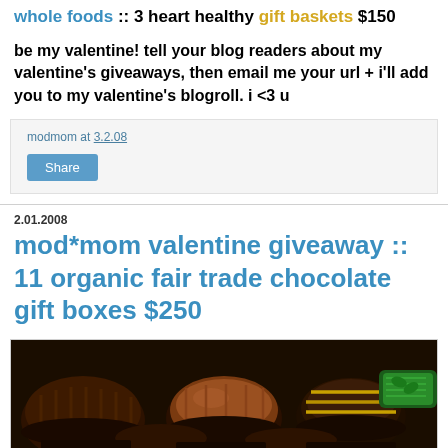whole foods :: 3 heart healthy gift baskets $150
be my valentine! tell your blog readers about my valentine's giveaways, then email me your url + i'll add you to my valentine's blogroll. i <3 u
modmom at 3.2.08
Share
2.01.2008
mod*mom valentine giveaway :: 11 organic fair trade chocolate gift boxes $250
[Figure (photo): Close-up photo of assorted chocolate candies/truffles in dark paper cups, including milk chocolate and dark chocolate pieces, one wrapped in green foil]